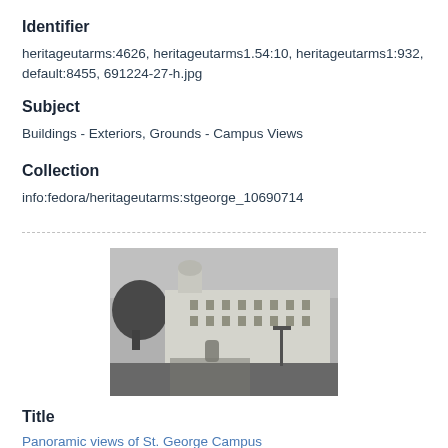Identifier
heritageutarms:4626, heritageutarms1.54:10, heritageutarms1:932, default:8455, 691224-27-h.jpg
Subject
Buildings - Exteriors, Grounds - Campus Views
Collection
info:fedora/heritageutarms:stgeorge_10690714
[Figure (photo): Black and white panoramic photograph of a university campus building (St. George Campus), showing a large classical stone building with dome/tower, trees on the left, and a pathway in foreground.]
Title
Panoramic views of St. George Campus
Date